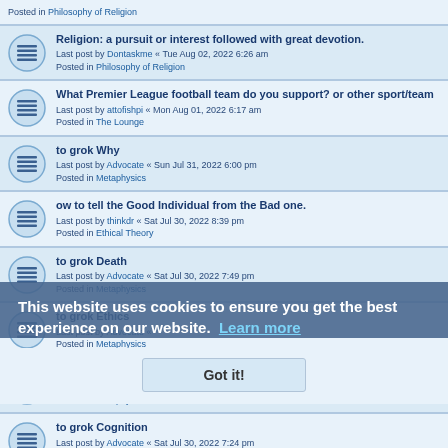Posted in Philosophy of Religion
Religion: a pursuit or interest followed with great devotion.
Last post by Dontaskme « Tue Aug 02, 2022 6:26 am
Posted in Philosophy of Religion
What Premier League football team do you support? or other sport/team
Last post by attofishpi « Mon Aug 01, 2022 6:17 am
Posted in The Lounge
to grok Why
Last post by Advocate « Sun Jul 31, 2022 6:00 pm
Posted in Metaphysics
ow to tell the Good Individual from the Bad one.
Last post by thinkdr « Sat Jul 30, 2022 8:39 pm
Posted in Ethical Theory
to grok Death
Last post by Advocate « Sat Jul 30, 2022 7:49 pm
Posted in Metaphysics
to grok Ethics
Last post by Advocate «
Posted in Metaphysics
to grok Morality
Last post by Advocate « Sat Jul 30, 2022 7:35 pm
Posted in Metaphysics
to grok Cognition
Last post by Advocate « Sat Jul 30, 2022 7:24 pm
Posted in Metaphysics
This website uses cookies to ensure you get the best experience on our website. Learn more
Got it!